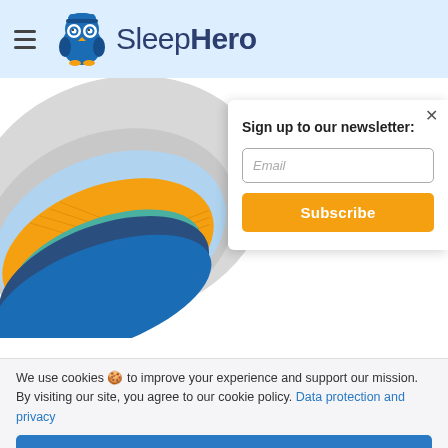[Figure (logo): SleepHero logo with owl mascot and hamburger menu icon on light blue header background]
[Figure (illustration): Cross-section illustration of a mattress showing multiple layers: gray outer shell, light blue comfort layer, orange foam layer with grid pattern, teal transition layer, dark blue base layer, all shown in a rounded oval shape]
Sign up to our newsletter:
Email
Subscribe
We use cookies 🍪 to improve your experience and support our mission. By visiting our site, you agree to our cookie policy. Data protection and privacy
I accept